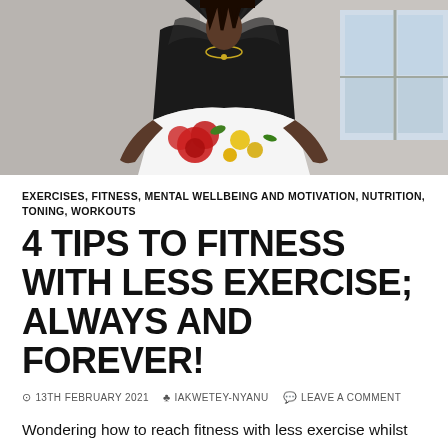[Figure (photo): A woman wearing a black top and white floral skirt with red and yellow flowers, standing outdoors. Cropped to show torso and upper body with a gold necklace. Background shows a building with glass windows.]
EXERCISES, FITNESS, MENTAL WELLBEING AND MOTIVATION, NUTRITION, TONING, WORKOUTS
4 TIPS TO FITNESS WITH LESS EXERCISE; ALWAYS AND FOREVER!
13TH FEBRUARY 2021   IAKWETEY-NYANU   LEAVE A COMMENT
Wondering how to reach fitness with less exercise whilst staying healthy and young always and forever? Then keep reading, because this blog has got you covered. But before we